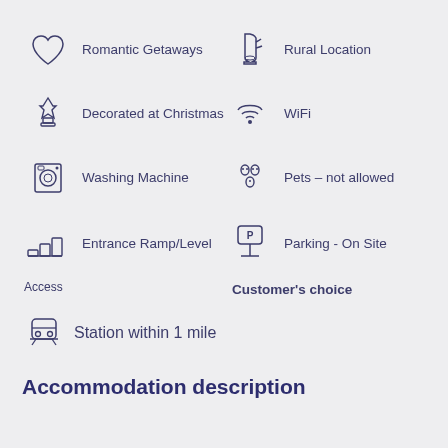Romantic Getaways
Rural Location
Decorated at Christmas
WiFi
Washing Machine
Pets – not allowed
Entrance Ramp/Level
Parking - On Site
Access
Customer's choice
Station within 1 mile
Accommodation description